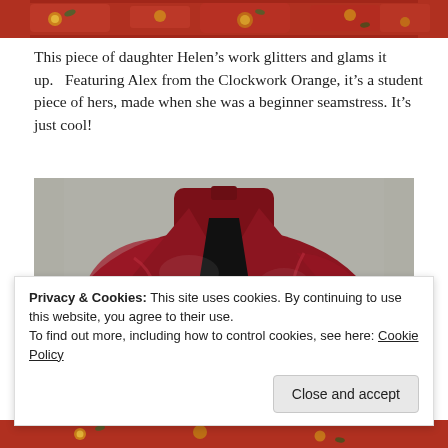[Figure (photo): Cropped top portion of a red embroidered fabric/collar with floral gold embroidery on red background]
This piece of daughter Helen’s work glitters and glams it up.   Featuring Alex from the Clockwork Orange, it’s a student piece of hers, made when she was a beginner seamstress. It’s just cool!
[Figure (photo): A shiny red leather-like jacket or garment laid flat on a gray carpet, showing the front opening with black lining visible, and gold embroidery details on the sides]
Privacy & Cookies: This site uses cookies. By continuing to use this website, you agree to their use.
To find out more, including how to control cookies, see here: Cookie Policy
[Figure (photo): Bottom strip of red embroidered fabric, partially visible]